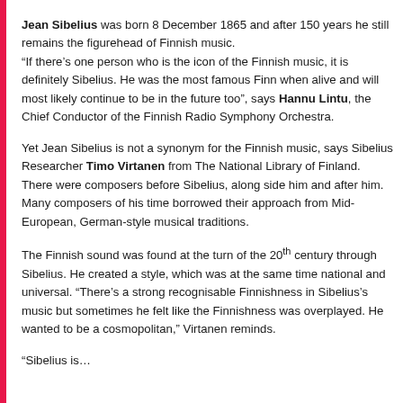Jean Sibelius was born 8 December 1865 and after 150 years he still remains the figurehead of Finnish music. "If there's one person who is the icon of the Finnish music, it is definitely Sibelius. He was the most famous Finn when alive and will most likely continue to be in the future too", says Hannu Lintu, the Chief Conductor of the Finnish Radio Symphony Orchestra.
Yet Jean Sibelius is not a synonym for the Finnish music, says Sibelius Researcher Timo Virtanen from The National Library of Finland. There were composers before Sibelius, along side him and after him. Many composers of his time borrowed their approach from Mid-European, German-style musical traditions.
The Finnish sound was found at the turn of the 20th century through Sibelius. He created a style, which was at the same time national and universal. "There's a strong recognisable Finnishness in Sibelius's music but sometimes he felt like the Finnishness was overplayed. He wanted to be a cosmopolitan," Virtanen reminds.
"Sibelius is...